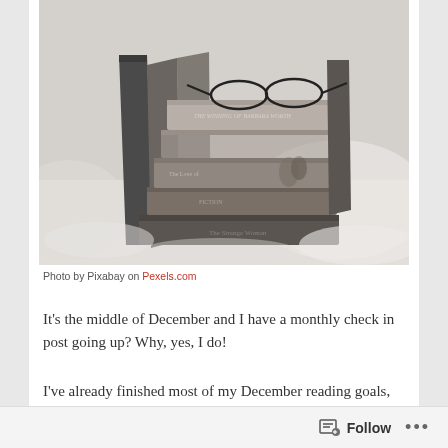[Figure (photo): Black and white photograph of a stack of old hardcover books with eyeglasses resting on top, placed on a soft white surface]
Photo by Pixabay on Pexels.com
It's the middle of December and I have a monthly check in post going up? Why, yes, I do!
I've already finished most of my December reading goals, which is honestly very surprising. It helps that I had a lot of